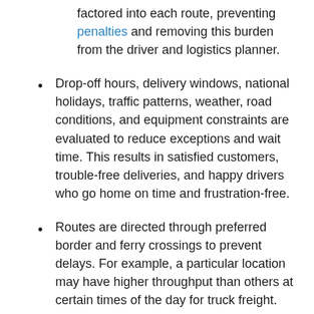factored into each route, preventing penalties and removing this burden from the driver and logistics planner.
Drop-off hours, delivery windows, national holidays, traffic patterns, weather, road conditions, and equipment constraints are evaluated to reduce exceptions and wait time. This results in satisfied customers, trouble-free deliveries, and happy drivers who go home on time and frustration-free.
Routes are directed through preferred border and ferry crossings to prevent delays. For example, a particular location may have higher throughput than others at certain times of the day for truck freight.